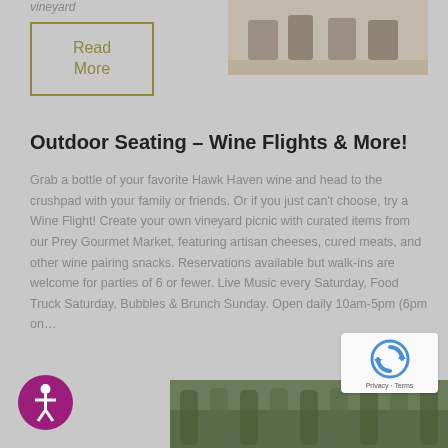vineyard
Read More
[Figure (photo): Outdoor wooden chairs/furniture at a vineyard, sepia-toned photograph]
Outdoor Seating – Wine Flights & More!
Grab a bottle of your favorite Hawk Haven wine and head to the crushpad with your family or friends. Or if you just can't choose, try a Wine Flight! Create your own vineyard picnic with curated items from our Prey Gourmet Market, featuring artisan cheeses, cured meats, and other wine pairing snacks. Reservations available but walk-ins are welcome for parties of 6 or fewer. Live Music every Saturday, Food Truck Saturday, Bubbles & Brunch Sunday. Open daily 10am-5pm (6pm on…
[Figure (photo): Vineyard rows/hedges outdoor photo at the bottom of the page]